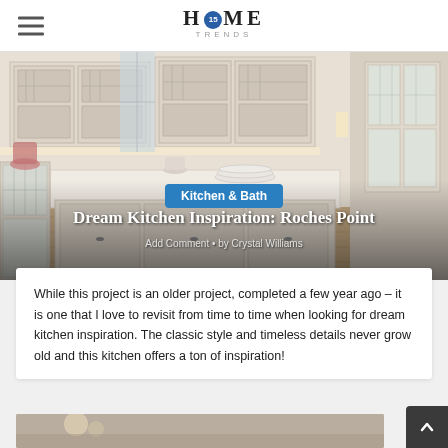HOME TRENDS (with logo)
[Figure (photo): Bright white classic kitchen with glass-front cabinets, large island with light countertop, farmhouse sink, hardwood floors, and French doors in background]
Kitchen & Bath
Dream Kitchen Inspiration: Roches Point
Add Comment • by Crystal Williams
While this project is an older project, completed a few year ago – it is one that I love to revisit from time to time when looking for dream kitchen inspiration. The classic style and timeless details never grow old and this kitchen offers a ton of inspiration!
[Figure (photo): Bottom portion of kitchen interior photo, partially visible]